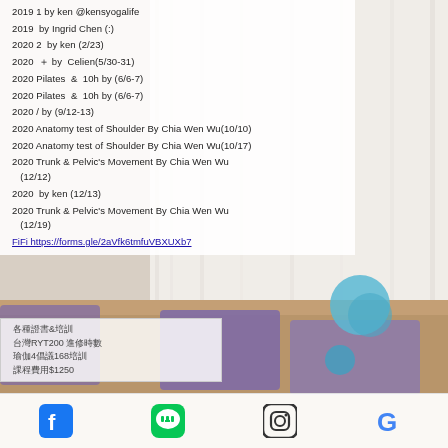2019 1 by ken @kensyogalife
2019  by Ingrid Chen (:)
2020 2  by ken (2/23)
2020  ＋ by  Celien(5/30-31)
2020 Pilates  &  10h by (6/6-7)
2020 Pilates  &  10h by (6/6-7)
2020 / by (9/12-13)
2020 Anatomy test of Shoulder By Chia Wen Wu(10/10)
2020 Anatomy test of Shoulder By Chia Wen Wu(10/17)
2020 Trunk & Pelvic's Movement By Chia Wen Wu (12/12)
2020  by ken (12/13)
2020 Trunk & Pelvic's Movement By Chia Wen Wu (12/19)
FiFi https://forms.gle/2aVfk6tmfuVBXUXb7
各種證書＆培訓
台灣RYT200 進修時數
瑜伽4倡議168培訓
課程費用$1250
Facebook | LINE | Instagram | Google